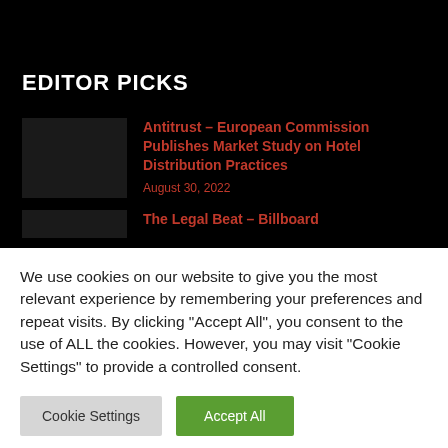EDITOR PICKS
Antitrust – European Commission Publishes Market Study on Hotel Distribution Practices
August 30, 2022
The Legal Beat – Billboard
We use cookies on our website to give you the most relevant experience by remembering your preferences and repeat visits. By clicking "Accept All", you consent to the use of ALL the cookies. However, you may visit "Cookie Settings" to provide a controlled consent.
Cookie Settings
Accept All